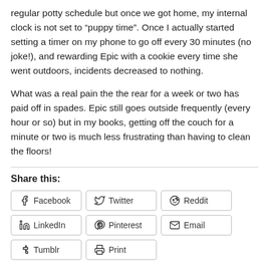regular potty schedule but once we got home, my internal clock is not set to “puppy time”. Once I actually started setting a timer on my phone to go off every 30 minutes (no joke!), and rewarding Epic with a cookie every time she went outdoors, incidents decreased to nothing.
What was a real pain the the rear for a week or two has paid off in spades. Epic still goes outside frequently (every hour or so) but in my books, getting off the couch for a minute or two is much less frustrating than having to clean the floors!
Share this:
Facebook | Twitter | Reddit | LinkedIn | Pinterest | Email | Tumblr | Print